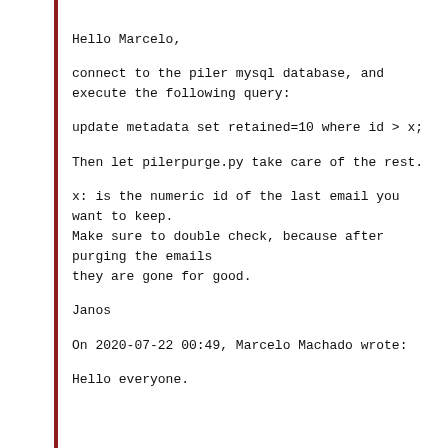Hello Marcelo,
connect to the piler mysql database, and execute the following query:
update metadata set retained=10 where id > x;
Then let pilerpurge.py take care of the rest.
x: is the numeric id of the last email you want to keep.
Make sure to double check, because after purging the emails
they are gone for good.
Janos
On 2020-07-22 00:49, Marcelo Machado wrote:
Hello everyone.